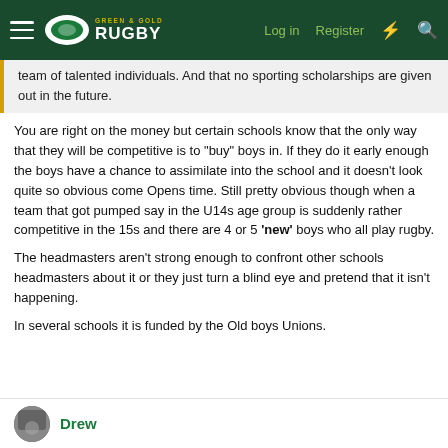Green & Gold Rugby — Log in | Register
team of talented individuals. And that no sporting scholarships are given out in the future.
You are right on the money but certain schools know that the only way that they will be competitive is to "buy" boys in. If they do it early enough the boys have a chance to assimilate into the school and it doesn't look quite so obvious come Opens time. Still pretty obvious though when a team that got pumped say in the U14s age group is suddenly rather competitive in the 15s and there are 4 or 5 'new' boys who all play rugby.
The headmasters aren't strong enough to confront other schools headmasters about it or they just turn a blind eye and pretend that it isn't happening.
In several schools it is funded by the Old boys Unions.
Drew